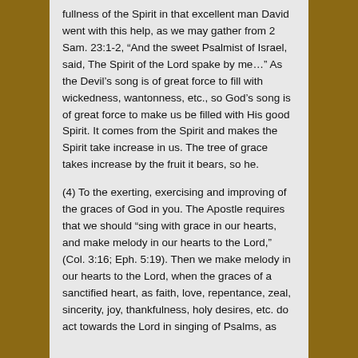fullness of the Spirit in that excellent man David went with this help, as we may gather from 2 Sam. 23:1-2, “And the sweet Psalmist of Israel, said, The Spirit of the Lord spake by me…”  As the Devil’s song is of great force to fill with wickedness, wantonness, etc., so God’s song is of great force to make us be filled with His good Spirit.  It comes from the Spirit and makes the Spirit take increase in us.  The tree of grace takes increase by the fruit it bears, so he.
(4)  To the exerting, exercising and improving of the graces of God in you.  The Apostle requires that we should “sing with grace in our hearts, and make melody in our hearts to the Lord,” (Col. 3:16; Eph. 5:19).  Then we make melody in our hearts to the Lord, when the graces of a sanctified heart, as faith, love, repentance, zeal, sincerity, joy, thankfulness, holy desires, etc. do act towards the Lord in singing of Psalms, as